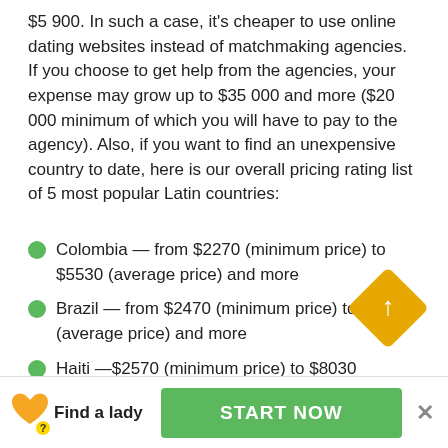$5 900. In such a case, it's cheaper to use online dating websites instead of matchmaking agencies. If you choose to get help from the agencies, your expense may grow up to $35 000 and more ($20 000 minimum of which you will have to pay to the agency). Also, if you want to find an unexpensive country to date, here is our overall pricing rating list of 5 most popular Latin countries:
Colombia — from $2270 (minimum price) to $5530 (average price) and more
Brazil — from $2470 (minimum price) to $7930 (average price) and more
Haiti —$2570 (minimum price) to $8030 (average price) and more
Mexico — $2920 (minimum price) to $10520 (average
Find a lady   START NOW